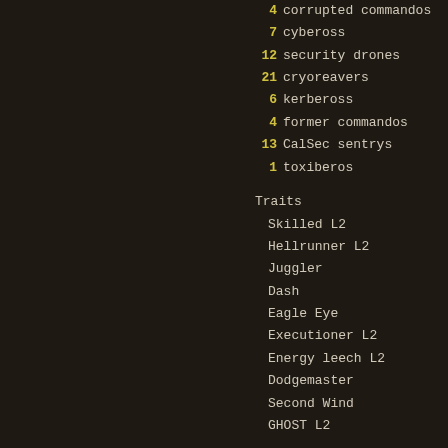4 corrupted commandos
7 cybeross
12 security drones
21 cryoreavers
6 kerbeross
4 former commandos
13 CalSec sentrys
1 toxiberos
Traits
Skilled L2
Hellrunner L2
Juggler
Dash
Eagle Eye
Executioner L2
Energy leech L2
Dodgemaster
Second Wind
GHOST L2
Trait order
Exe->Exe->Skl->EnL->Skl->EE->MGH->EnL->
MGH->Das->Hr->Hr->Dm->Jug->SWd